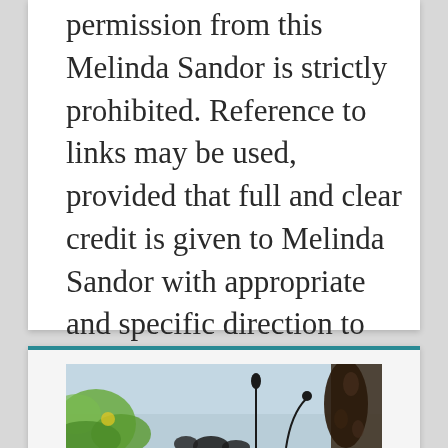permission from this Melinda Sandor is strictly prohibited. Reference to links may be used, provided that full and clear credit is given to Melinda Sandor with appropriate and specific direction to the original content.
[Figure (photo): Photograph showing plants/flowers with bokeh background including green leaves in foreground and flower buds on stems against a light blue sky]